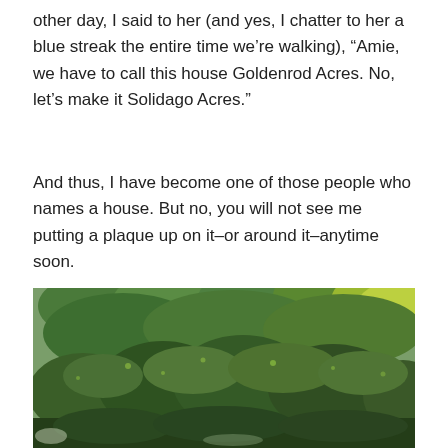other day, I said to her (and yes, I chatter to her a blue streak the entire time we're walking), “Amie, we have to call this house Goldenrod Acres. No, let’s make it Solidago Acres.”
And thus, I have become one of those people who names a house. But no, you will not see me putting a plaque up on it–or around it–anytime soon.
[Figure (photo): Outdoor photograph of dense green shrubs and bushes with fine feathery foliage in the foreground, with taller trees behind showing some yellow-green leaves, taken in natural daylight.]